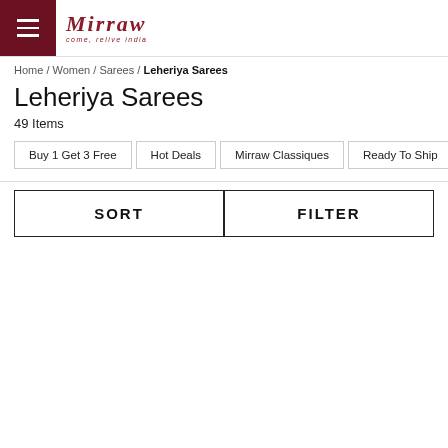Mirraw — come, relive India
Home / Women / Sarees / Leheriya Sarees
Leheriya Sarees
49 Items
Buy 1 Get 3 Free
Hot Deals
Mirraw Classiques
Ready To Ship
Best Sel
SORT
FILTER